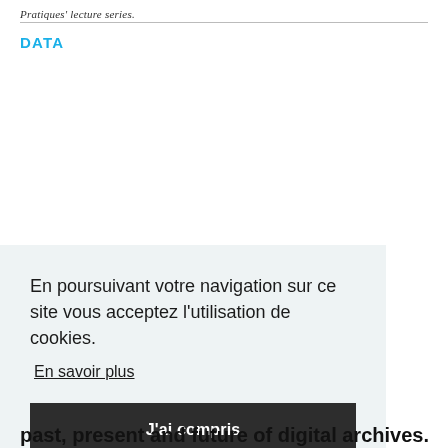Pratiques' lecture series.
DATA
En poursuivant votre navigation sur ce site vous acceptez l'utilisation de cookies.
En savoir plus
J'ai compris
past, present and future of digital archives.